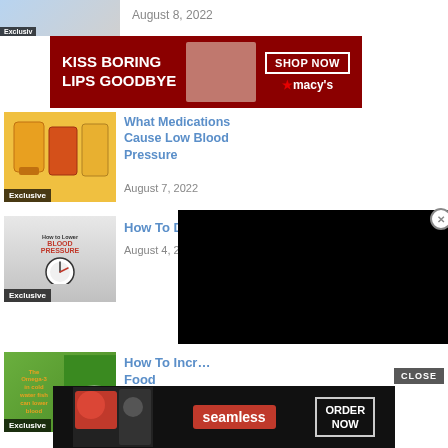[Figure (screenshot): Partial article thumbnail at top showing breastfeeding related image with Exclusive badge]
August 8, 2022
[Figure (photo): Macy's advertisement banner: KISS BORING LIPS GOODBYE with woman, SHOP NOW button and Macy's logo]
[Figure (photo): Article thumbnail: medication bottles with Exclusive badge]
What Medications Cause Low Blood Pressure
August 7, 2022
[Figure (photo): Article thumbnail: How to Lower Blood Pressure book cover with glass of water, Exclusive badge]
How To Dec...
August 4, 2022
[Figure (screenshot): Black overlay covering part of the page]
[Figure (photo): Article thumbnail: Omega-3 cold water fish image with text overlay, Exclusive badge]
How To Incr... Food
August 2, 2022
[Figure (photo): Seamless food delivery advertisement banner with pizza image, Seamless logo, ORDER NOW button]
CLOSE